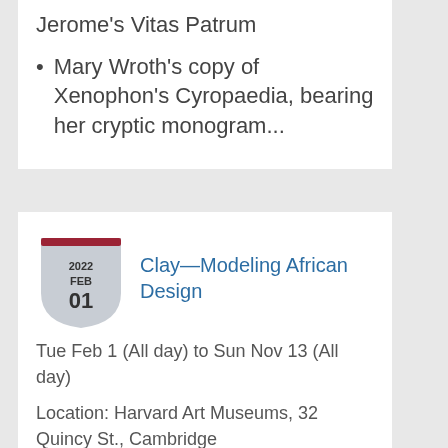Jerome's Vitas Patrum
Mary Wroth's copy of Xenophon's Cyropaedia, bearing her cryptic monogram...
[Figure (illustration): Shield/badge calendar icon showing 2022 FEB 01]
Clay—Modeling African Design
Tue Feb 1 (All day) to Sun Nov 13 (All day)
Location: Harvard Art Museums, 32 Quincy St., Cambridge
On View:
November 17, 2018–November 13, 2022